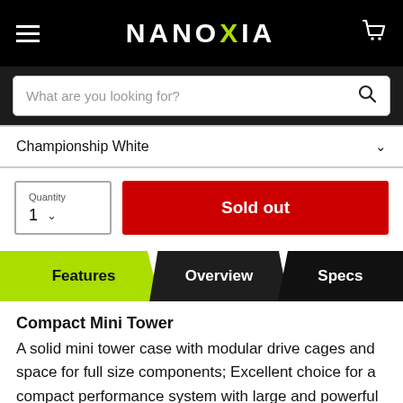NANOXIA
What are you looking for?
Championship White
Quantity 1
Sold out
Features   Overview   Specs
Compact Mini Tower
A solid mini tower case with modular drive cages and space for full size components; Excellent choice for a compact performance system with large and powerful GPU.
Silent operation